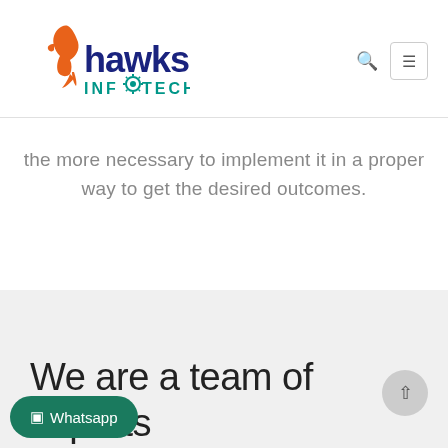[Figure (logo): Hawks Infotech logo with orange hawk bird and blue 'hawks' text and teal 'INFOTECH' text]
the more necessary to implement it in a proper way to get the desired outcomes.
We are a team of experts